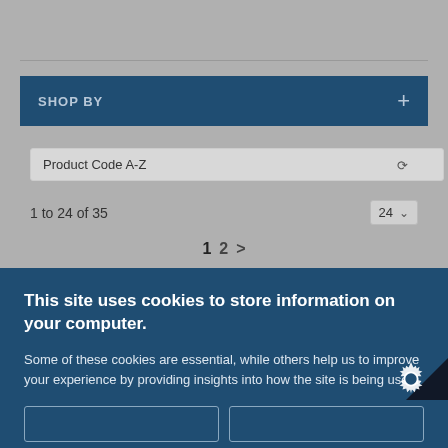SHOP BY
Product Code A-Z
1 to 24 of 35
1 2 >
This site uses cookies to store information on your computer.
Some of these cookies are essential, while others help us to improve your experience by providing insights into how the site is being used.